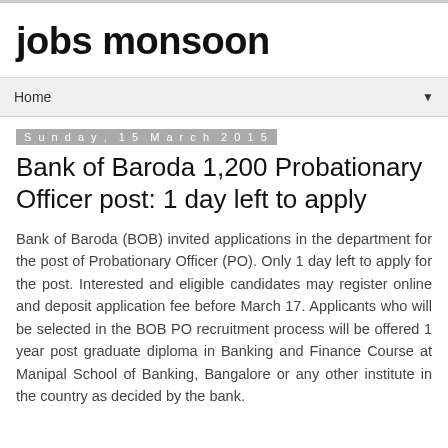jobs monsoon
Home
Sunday, 15 March 2015
Bank of Baroda 1,200 Probationary Officer post: 1 day left to apply
Bank of Baroda (BOB) invited applications in the department for the post of Probationary Officer (PO). Only 1 day left to apply for the post. Interested and eligible candidates may register online and deposit application fee before March 17. Applicants who will be selected in the BOB PO recruitment process will be offered 1 year post graduate diploma in Banking and Finance Course at Manipal School of Banking, Bangalore or any other institute in the country as decided by the bank.